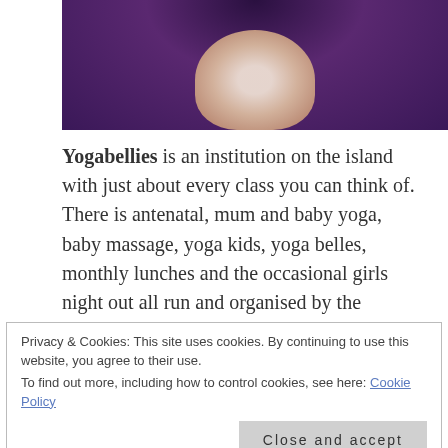[Figure (photo): Cropped photo showing a person wearing a purple knitted sweater, close-up view from below chin, with a light-colored top visible underneath]
Yogabellies is an institution on the island with just about every class you can think of. There is antenatal, mum and baby yoga, baby massage, yoga kids, yoga belles, monthly lunches and the occasional girls night out all run and organised by the fabulous Sharon. I first met Sharon last year when I was about 16 weeks pregnant and started off with her Friday night prenatal class. I never thought I would be giving up the ubiquitous after work drinks for the yoga mat, but I did and so happy I did too – even now,
Privacy & Cookies: This site uses cookies. By continuing to use this website, you agree to their use.
To find out more, including how to control cookies, see here: Cookie Policy
personal highlight sharing every week, which is great